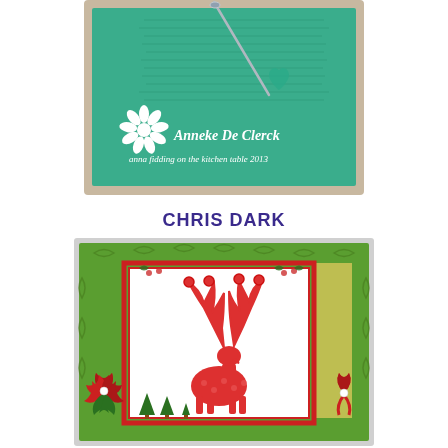[Figure (photo): Handmade craft card with teal/green background featuring a needle or pin, with white daisy embellishment and text 'Anneke De Clerck - anna fidding on the kitchen table 2013' in white on green background]
CHRIS DARK
[Figure (photo): Handmade Christmas card with green embossed background, red and white panel featuring a stylized reindeer with decorative antlers, Christmas trees at bottom, red poinsettia flower embellishment on left side and red ribbon bow on right side]